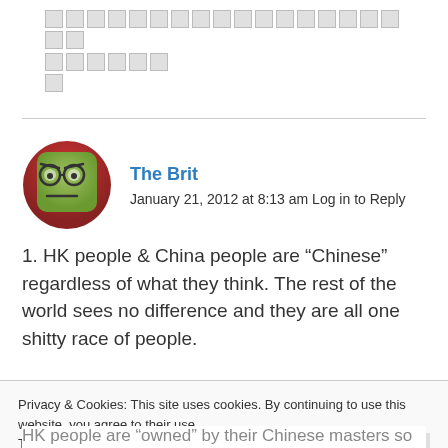[redacted text blocks]
The Brit
January 21, 2012 at 8:13 am Log in to Reply
1. HK people & China people are “Chinese” regardless of what they think. The rest of the world sees no difference and they are all one shitty race of people.
Privacy & Cookies: This site uses cookies. By continuing to use this website, you agree to their use.
To find out more, including how to control cookies, see here: Cookie Policy
Close and accept
HK people are “owned” by their Chinese masters so